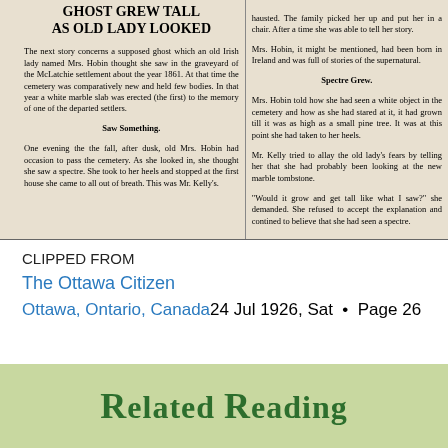[Figure (photo): Newspaper clipping scan showing two-column article with headline 'GHOST GREW TALL AS OLD LADY LOOKED' describing Mrs. Hobin seeing a supposed ghost in a graveyard around 1861, with subheadings 'Saw Something.' and 'Spectre Grew.' in the left and right columns respectively.]
CLIPPED FROM
The Ottawa Citizen
Ottawa, Ontario, Canada24 Jul 1926, Sat • Page 26
[Figure (other): Related Reading banner image with green background and bold green text reading 'RELATED READING']